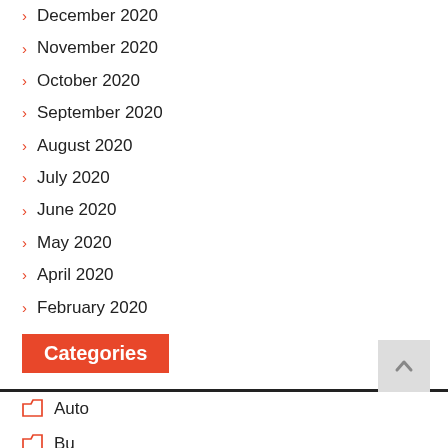December 2020
November 2020
October 2020
September 2020
August 2020
July 2020
June 2020
May 2020
April 2020
February 2020
Categories
Auto
Bu...